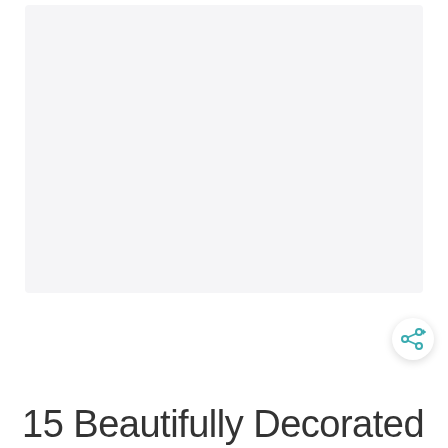[Figure (photo): Large light gray rectangular image placeholder area occupying upper portion of page]
[Figure (other): Share/add button icon — circular white button with teal share icon (network nodes with plus sign)]
15 Beautifully Decorated